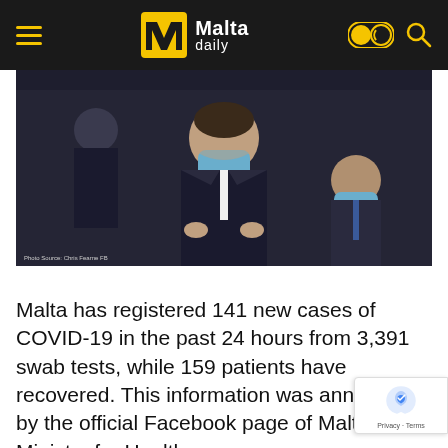Malta daily
[Figure (photo): A man in a dark suit wearing a blue surgical face mask speaks at a podium or microphone. Behind him are other individuals also wearing masks. Photo Source: Chris Fearne FB]
Photo Source: Chris Fearne FB
Malta has registered 141 new cases of COVID-19 in the past 24 hours from 3,391 swab tests, while 159 patients have recovered. This information was announced by the official Facebook page of Malta's Ministry for Health.